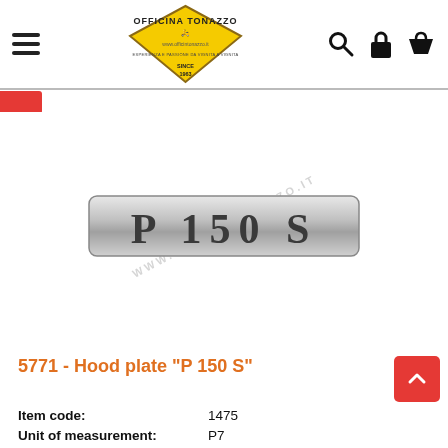[Figure (logo): Officina Tonazzo diamond-shaped logo with yellow background, scooter image, website www.officintonazzo.it, SINCE 1963]
[Figure (photo): Chrome metal badge/emblem reading 'P 150 S' for Vespa scooter hood plate, on white background with watermark text]
5771 - Hood plate "P 150 S"
Item code: 1475
Unit of measurement: P7